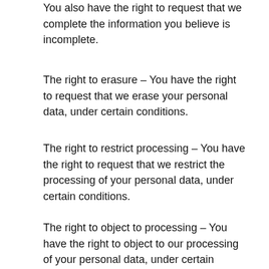You also have the right to request that we complete the information you believe is incomplete.
The right to erasure – You have the right to request that we erase your personal data, under certain conditions.
The right to restrict processing – You have the right to request that we restrict the processing of your personal data, under certain conditions.
The right to object to processing – You have the right to object to our processing of your personal data, under certain conditions.